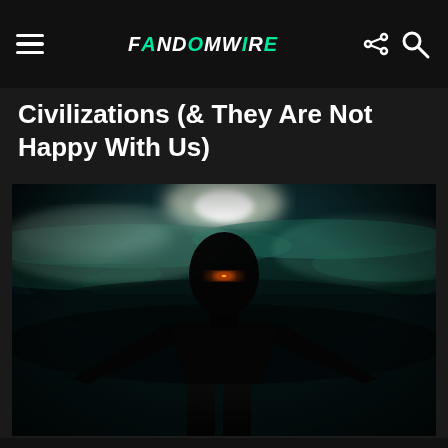FandomWire
Civilizations (& They Are Not Happy With Us)
[Figure (photo): A dark, dramatic sci-fi image of a silhouetted humanoid figure with a glowing red/orange eye, standing against a backdrop of a planet or alien world with teal-green atmospheric clouds and a bright light source above.]